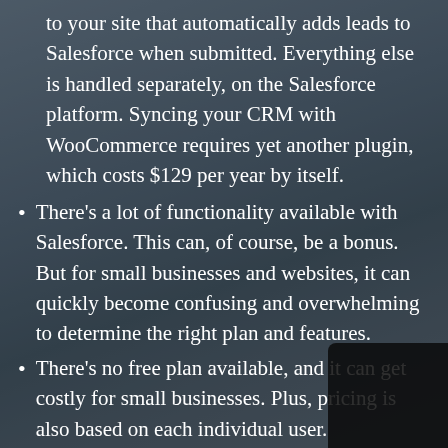to your site that automatically adds leads to Salesforce when submitted. Everything else is handled separately, on the Salesforce platform. Syncing your CRM with WooCommerce requires yet another plugin, which costs $129 per year by itself.
There's a lot of functionality available with Salesforce. This can, of course, be a bonus. But for small businesses and websites, it can quickly become confusing and overwhelming to determine the right plan and features.
There's no free plan available, and it can get costly for small businesses. Plus, pricing is also based on each individual user.